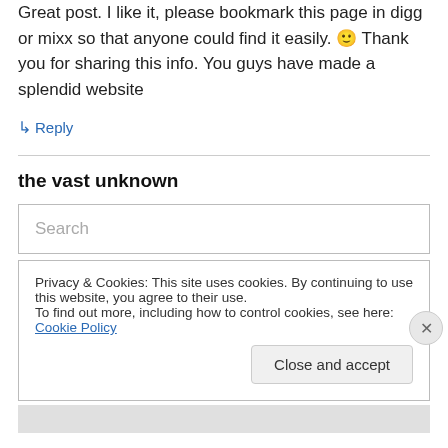Great post. I like it, please bookmark this page in digg or mixx so that anyone could find it easily. 🙂 Thank you for sharing this info. You guys have made a splendid website
↳ Reply
the vast unknown
Search
Privacy & Cookies: This site uses cookies. By continuing to use this website, you agree to their use.
To find out more, including how to control cookies, see here: Cookie Policy
Close and accept